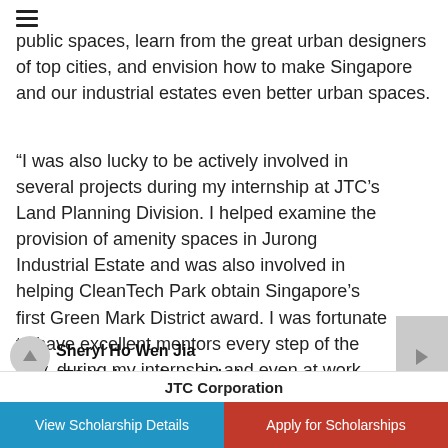≡
public spaces, learn from the great urban designers of top cities, and envision how to make Singapore and our industrial estates even better urban spaces.
“I was also lucky to be actively involved in several projects during my internship at JTC’s Land Planning Division. I helped examine the provision of amenity spaces in Jurong Industrial Estate and was also involved in helping CleanTech Park obtain Singapore’s first Green Mark District award. I was fortunate to have excellent mentors every step of the way, during my internship and even at work today!”
Sheryl Ho Wen Jia
JTC Undergraduate Scholar
JTC Corporation
View Scholarship Details
Apply for Scholarships